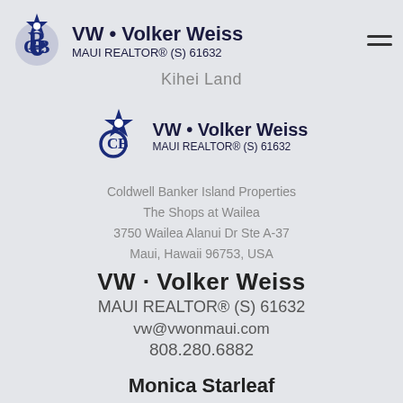VW • Volker Weiss MAUI REALTOR® (S) 61632
Kihei Land
[Figure (logo): Coldwell Banker logo (CB with star) in dark blue]
VW • Volker Weiss
MAUI REALTOR® (S) 61632
Coldwell Banker Island Properties
The Shops at Wailea
3750 Wailea Alanui Dr Ste A-37
Maui, Hawaii 96753, USA
VW · Volker Weiss
MAUI REALTOR® (S) 61632
vw@vwonmaui.com
808.280.6882
Monica Starleaf